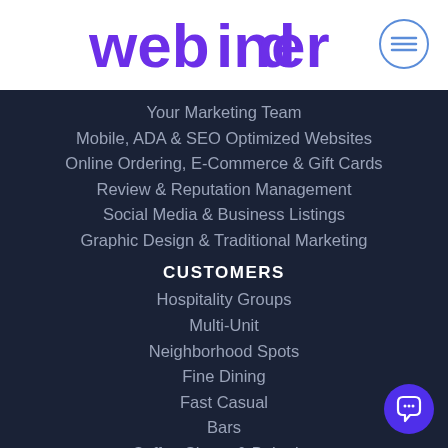[Figure (logo): webdiner logo in bold purple text]
Your Marketing Team
Mobile, ADA & SEO Optimized Websites
Online Ordering, E-Commerce & Gift Cards
Review & Reputation Management
Social Media & Business Listings
Graphic Design & Traditional Marketing
CUSTOMERS
Hospitality Groups
Multi-Unit
Neighborhood Spots
Fine Dining
Fast Casual
Bars
Coffee Shops & Bakeries